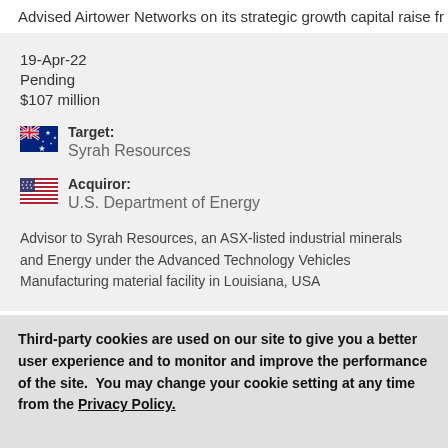Advised Airtower Networks on its strategic growth capital raise fr
19-Apr-22
Pending
$107 million
Target: Syrah Resources
Acquiror: U.S. Department of Energy
Advisor to Syrah Resources, an ASX-listed industrial minerals and Energy under the Advanced Technology Vehicles Manufacturing material facility in Louisiana, USA
01-Apr-22
Third-party cookies are used on our site to give you a better user experience and to monitor and improve the performance of the site.  You may change your cookie setting at any time from the Privacy Policy.